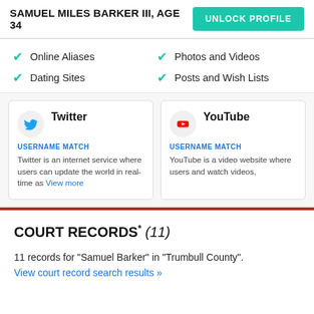SAMUEL MILES BARKER III, AGE 34
UNLOCK PROFILE
Online Aliases
Dating Sites
Photos and Videos
Posts and Wish Lists
[Figure (infographic): Twitter social card with USERNAME MATCH label and description: Twitter is an internet service where users can update the world in real-time as... View more]
[Figure (infographic): YouTube social card with USERNAME MATCH label and description: YouTube is a video website where users and watch videos,]
COURT RECORDS* (11)
11 records for "Samuel Barker" in "Trumbull County".
View court record search results »